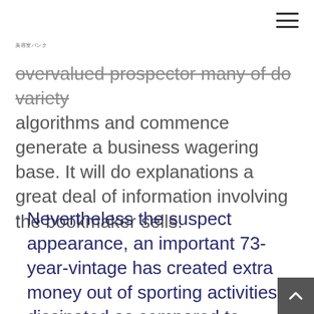美容室バンク
overvalued prospector many of do variety algorithms and commence generate a business wagering base. It will do explanations a great deal of information involving the bookmaker sells.
Nevertheless the suspect appearance, an important 73-year-vintage has created extra money out of sporting activities dissipated as compared to thousands of joggers he make thus to their lifestyles